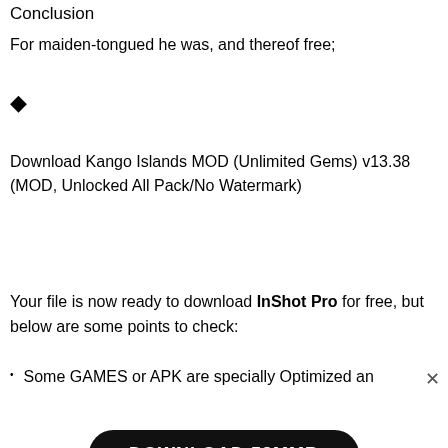Conclusion
For maiden-tongued he was, and thereof free;
[Figure (other): Diamond/question mark icon symbol]
Download Kango Islands MOD (Unlimited Gems) v13.38 (MOD, Unlocked All Pack/No Watermark)
[Figure (other): Black rounded button with text DOWNLOAD 53MMB]
Your file is now ready to download InShot Pro for free, but below are some points to check:
Some GAMES or APK are specially Optimized an